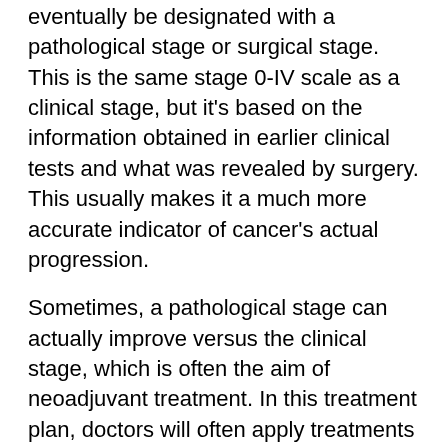eventually be designated with a pathological stage or surgical stage. This is the same stage 0-IV scale as a clinical stage, but it's based on the information obtained in earlier clinical tests and what was revealed by surgery. This usually makes it a much more accurate indicator of cancer's actual progression.
Sometimes, a pathological stage can actually improve versus the clinical stage, which is often the aim of neoadjuvant treatment. In this treatment plan, doctors will often apply treatments such as chemotherapy or radiation before surgery to improve the chances of successfully excising the tumor. I
n these cases, if the pre-surgery treatment was effective, a pathological stage may become less severe than a clinical stage as more is learned about